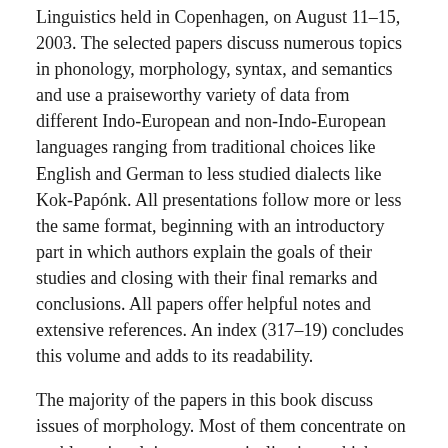Linguistics held in Copenhagen, on August 11–15, 2003. The selected papers discuss numerous topics in phonology, morphology, syntax, and semantics and use a praiseworthy variety of data from different Indo-European and non-Indo-European languages ranging from traditional choices like English and German to less studied dialects like Kok-Papónk. All presentations follow more or less the same format, beginning with an introductory part in which authors explain the goals of their studies and closing with their final remarks and conclusions. All papers offer helpful notes and extensive references. An index (317–19) concludes this volume and adds to its readability.
The majority of the papers in this book discuss issues of morphology. Most of them concentrate on problems involving grammaticalization, which demonstrates the significance of this theory for modern historical linguistics. Kasper Boye advocates a distinction between Danish raising verbs and auxiliaries in light of grammaticalization (31–46). Michael Fortescue argues against the wholesale borrowing of auxiliaries from Chukotian into Itelmen and uses examples